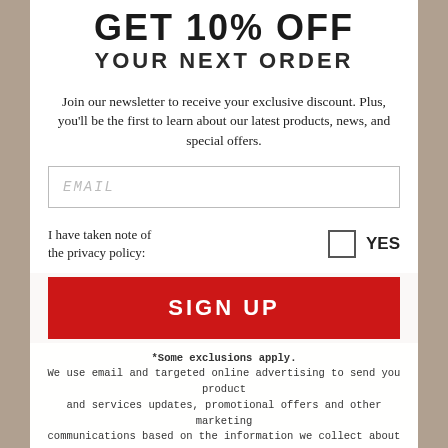GET 10% OFF YOUR NEXT ORDER
Join our newsletter to receive your exclusive discount. Plus, you'll be the first to learn about our latest products, news, and special offers.
EMAIL
I have taken note of the privacy policy:
YES
SIGN UP
*Some exclusions apply. We use email and targeted online advertising to send you product and services updates, promotional offers and other marketing communications based on the information we collect about you, such as your email address, general location, and purchase and website browsing history.
We process your personal data as stated in our Privacy Policy. You may withdraw your consent or manage your preferences at any time by clicking the unsubscribe link at the bottom of any of our marketing